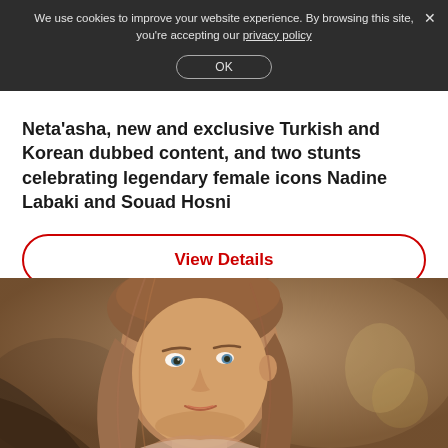We use cookies to improve your website experience. By browsing this site, you're accepting our privacy policy
Neta'asha, new and exclusive Turkish and Korean dubbed content, and two stunts celebrating legendary female icons Nadine Labaki and Souad Hosni
View Details
[Figure (photo): Close-up portrait of a woman with long blonde-brown hair, blue eyes, looking slightly upward and to the right, warm indoor background]